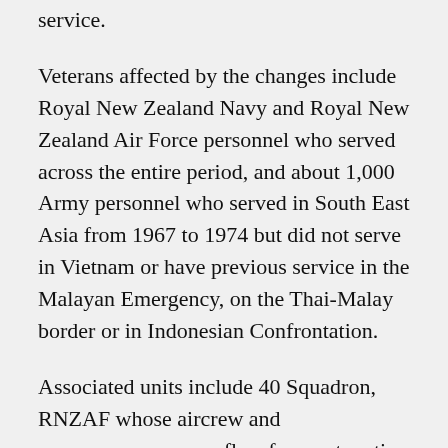service.
Veterans affected by the changes include Royal New Zealand Navy and Royal New Zealand Air Force personnel who served across the entire period, and about 1,000 Army personnel who served in South East Asia from 1967 to 1974 but did not serve in Vietnam or have previous service in the Malayan Emergency, on the Thai-Malay border or in Indonesian Confrontation.
Associated units include 40 Squadron, RNZAF whose aircrew and supernumerary crew flew frequent sorties between New Zealand and South East Asia in direct support of FESR and ANZUK.
The recent review by the New Zealand Defence Force showed the need for a wider approach to medallic